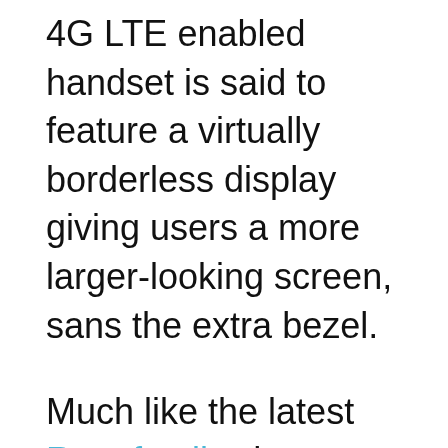4G LTE enabled handset is said to feature a virtually borderless display giving users a more larger-looking screen, sans the extra bezel.
Much like the latest Razr family, the Electrify M features a rugged form factor that's immune to scratches, scrapes and scuffs as well as water and other liquids. The 4.3-inch Super AMOLED Advanced display is layered with Corning Gorilla Glass, while the exterior sports a splash guard coating. The innards comprise of a 1.5GHz dual